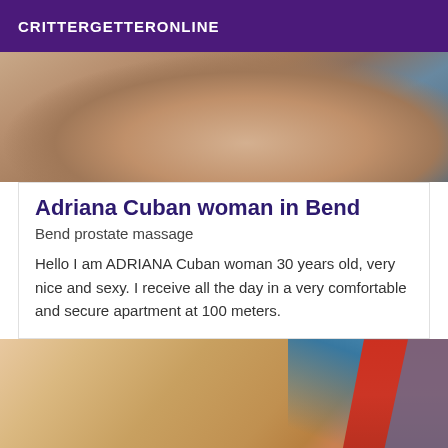CRITTERGETTERONLINE
[Figure (photo): Cropped photo showing partial view of a person, warm skin tones with blue/grey clothing visible in upper right]
Adriana Cuban woman in Bend
Bend prostate massage
Hello I am ADRIANA Cuban woman 30 years old, very nice and sexy. I receive all the day in a very comfortable and secure apartment at 100 meters.
[Figure (photo): Cropped close-up photo showing skin tones with red and blue fabric/clothing visible in upper right corner]